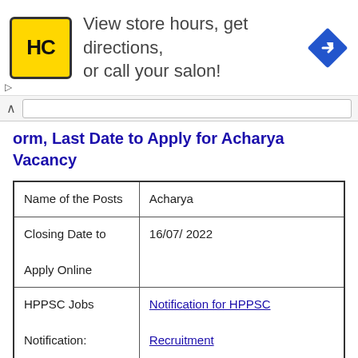[Figure (screenshot): Advertisement banner for Hair Club (HC) salon: yellow logo with HC text, text reading 'View store hours, get directions, or call your salon!', and a blue navigation/directions diamond icon on the right.]
orm, Last Date to Apply for Acharya Vacancy
| Name of the Posts | Acharya |
| Closing Date to Apply Online | 16/07/ 2022 |
| HPPSC Jobs Notification: | Notification for HPPSC Recruitment |
| HPPSC Jobs Apply Online | Click Here |